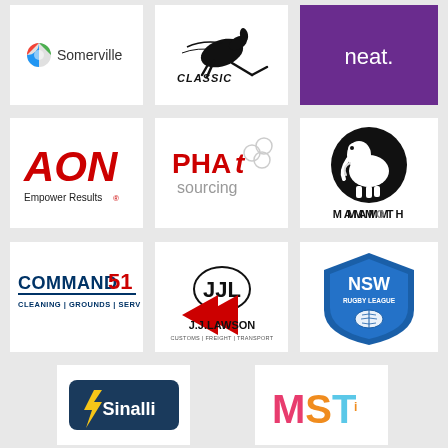[Figure (logo): Somerville logo with colorful circle icon and text 'Somerville']
[Figure (logo): Classic Sportswear logo with kangaroo silhouette and text 'CLASSIC']
[Figure (logo): neat. logo with white text on purple background]
[Figure (logo): AON logo with red stylized letters and tagline 'Empower Results']
[Figure (logo): PHAt sourcing logo with red and grey text]
[Figure (logo): Mammoth logo with mammoth in black circle and bold text 'MAMMOTH']
[Figure (logo): COMMAND 51 logo with text 'CLEANING | GROUNDS | SERVICE']
[Figure (logo): J.J. Lawson logo with JJL monogram and text 'CUSTOMS | FREIGHT | TRANSPORT']
[Figure (logo): NSW Rugby League logo with blue shield, rugby ball and text 'NSW RUGBY LEAGUE']
[Figure (logo): Sinalli logo with lightning bolt on dark blue background]
[Figure (logo): MST logo with colorful gradient letters]